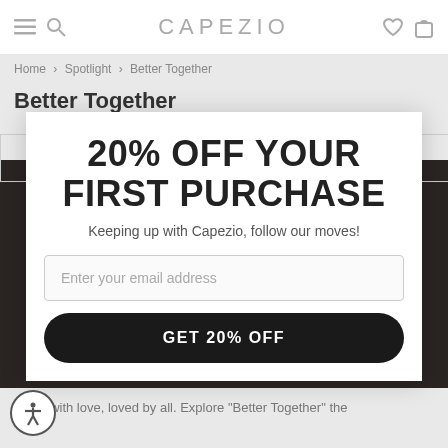CAPEZIO
Home > Spotlight > Better Together
Better Together
20% OFF YOUR FIRST PURCHASE
Keeping up with Capezio, follow our moves!
Enter your email address
GET 20% OFF
BETTER TOGETHER
Made with love, loved by all. Explore "Better Together" the x edit.